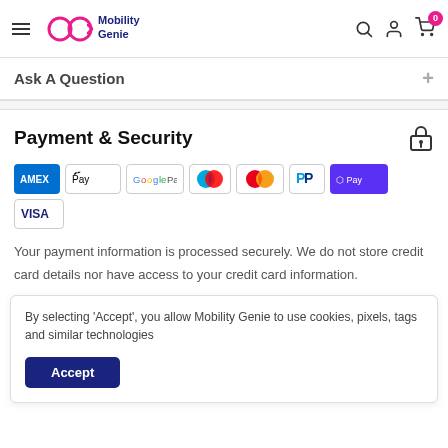Mobility Genie — navigation header with search, account, and cart icons
Ask A Question
Payment & Security
[Figure (logo): Payment method icons: AMEX, Apple Pay, Google Pay, Maestro, Mastercard, PayPal, Shop Pay, Visa]
Your payment information is processed securely. We do not store credit card details nor have access to your credit card information.
By selecting 'Accept', you allow Mobility Genie to use cookies, pixels, tags and similar technologies